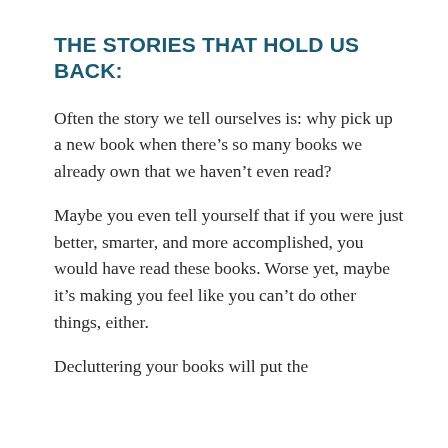THE STORIES THAT HOLD US BACK:
Often the story we tell ourselves is: why pick up a new book when there’s so many books we already own that we haven’t even read?
Maybe you even tell yourself that if you were just better, smarter, and more accomplished, you would have read these books. Worse yet, maybe it’s making you feel like you can’t do other things, either.
Decluttering your books will put the